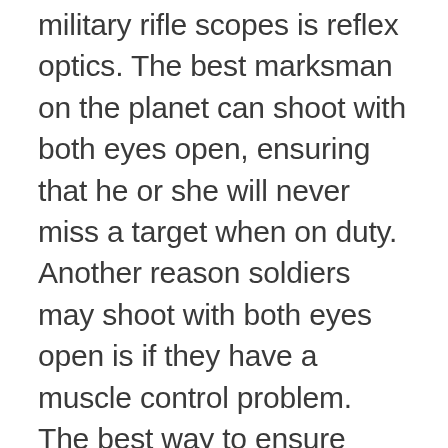military rifle scopes is reflex optics. The best marksman on the planet can shoot with both eyes open, ensuring that he or she will never miss a target when on duty. Another reason soldiers may shoot with both eyes open is if they have a muscle control problem. The best way to ensure you'll be able to shoot with both eyes open is to choose a scope with reflex optics.
You'll be prepared to probe, plan, and engage with stealth when you choose a military rifle scope with all of the features listed above.